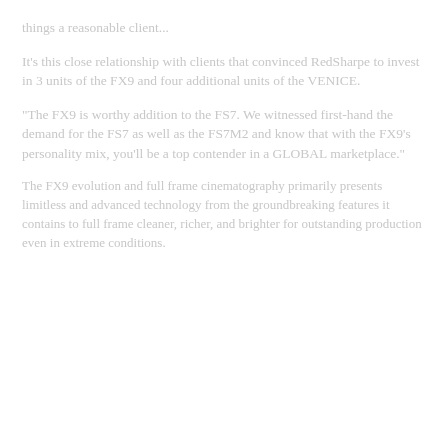things a reasonable client...
It's this close relationship with clients that convinced RedSharpe to invest in 3 units of the FX9 and four additional units of the VENICE.
"The FX9 is worthy addition to the FS7. We witnessed first-hand the demand for the FS7 as well as the FS7M2 and know that with the FX9's personality mix, you'll be a top contender in a GLOBAL marketplace."
The FX9 evolution and full frame cinematography primarily presents limitless and advanced technology from the groundbreaking features it contains to full frame cleaner, richer, and brighter for outstanding production even in extreme conditions.